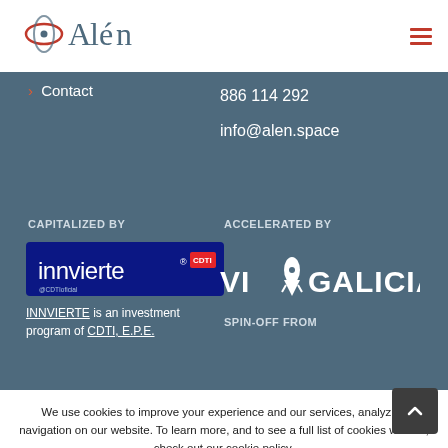[Figure (logo): Alén Space company logo with stylized atom/orbit graphic and text 'Alén']
[Figure (logo): Hamburger menu icon (three red horizontal lines)]
> Contact
886 114 292
info@alen.space
CAPITALIZED BY
ACCELERATED BY
[Figure (logo): Innvierte logo - blue rectangle with white text 'innvierte' and CDTI badge]
[Figure (logo): VIAGALICIA logo in white text with rocket icon]
INNVIERTE is an investment program of CDTI, E.P.E.
SPIN-OFF FROM
We use cookies to improve your experience and our services, analyzing navigation on our website. To learn more, and to see a full list of cookies we use, check out our cookie policy.
Allow cookies
Settings